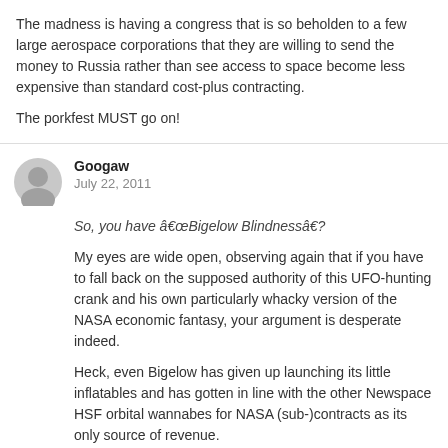The madness is having a congress that is so beholden to a few large aerospace corporations that they are willing to send the money to Russia rather than see access to space become less expensive than standard cost-plus contracting.

The porkfest MUST go on!
Googaw
July 22, 2011
So, you have â€œBigelow Blindnessâ€�?
My eyes are wide open, observing again that if you have to fall back on the supposed authority of this UFO-hunting crank and his own particularly whacky version of the NASA economic fantasy, your argument is desperate indeed.
Heck, even Bigelow has given up launching its little inflatables and has gotten in line with the other Newspace HSF orbital wannabes for NASA (sub-)contracts as its only source of revenue.
Googaw
July 22, 2011